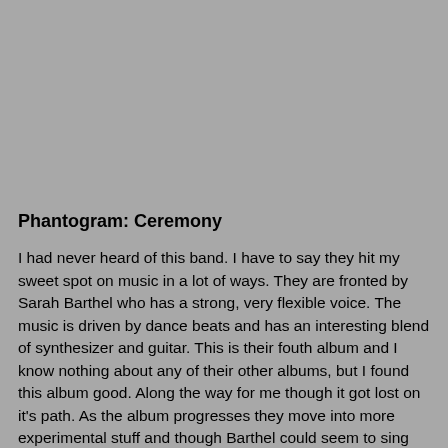Phantogram: Ceremony
I had never heard of this band. I have to say they hit my sweet spot on music in a lot of ways. They are fronted by Sarah Barthel who has a strong, very flexible voice. The music is driven by dance beats and has an interesting blend of synthesizer and guitar. This is their fouth album and I know nothing about any of their other albums, but I found this album good. Along the way for me though it got lost on it's path. As the album progresses they move into more experimental stuff and though Barthel could seem to sing any style she wants I find them at their best when they are driving down the pop, rock path. For me the album just seems to go off the rails at some point and I never get back on. I give it 2 out of 5 stars. Plenty here to put on a workout mix.